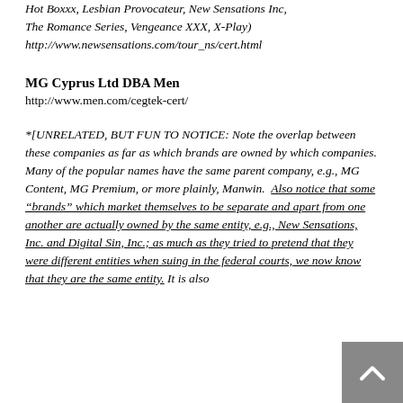Hot Boxxx, Lesbian Provocateur, New Sensations Inc, The Romance Series, Vengeance XXX, X-Play) http://www.newsensations.com/tour_ns/cert.html
MG Cyprus Ltd DBA Men
http://www.men.com/cegtek-cert/
*[UNRELATED, BUT FUN TO NOTICE: Note the overlap between these companies as far as which brands are owned by which companies. Many of the popular names have the same parent company, e.g., MG Content, MG Premium, or more plainly, Manwin.  Also notice that some "brands" which market themselves to be separate and apart from one another are actually owned by the same entity, e.g., New Sensations, Inc. and Digital Sin, Inc.; as much as they tried to pretend that they were different entities when suing in the federal courts, we now know that they are the same entity. It is also